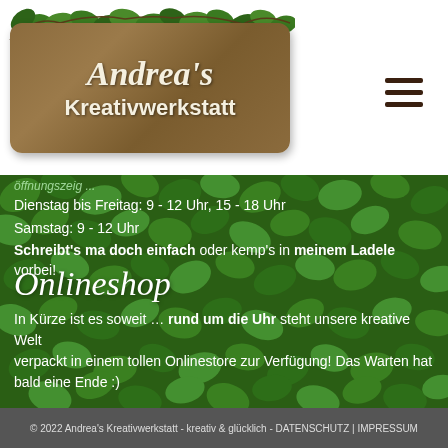[Figure (logo): Andrea's Kreativwerkstatt logo on wooden sign with ivy decoration]
Dienstag bis Freitag: 9 - 12 Uhr, 15 - 18 Uhr
Samstag: 9 - 12 Uhr
Schreibt's ma doch einfach oder kemp's in meinem Ladele vorbei!
Onlineshop
In Kürze ist es soweit … rund um die Uhr steht unsere kreative Welt verpackt in einem tollen Onlinestore zur Verfügung! Das Warten hat bald eine Ende :)
© 2022 Andrea's Kreativwerkstatt - kreativ & glücklich - DATENSCHUTZ | IMPRESSUM